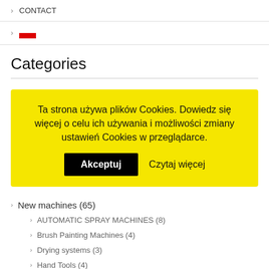> CONTACT
> [Polish flag icon]
Categories
Ta strona używa plików Cookies. Dowiedz się więcej o celu ich używania i możliwości zmiany ustawień Cookies w przeglądarce. Akceptuj  Czytaj więcej
> New machines (65)
> AUTOMATIC SPRAY MACHINES (8)
> Brush Painting Machines (4)
> Drying systems (3)
> Hand Tools (4)